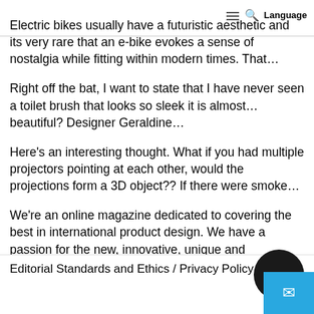Language
Electric bikes usually have a futuristic aesthetic and its very rare that an e-bike evokes a sense of nostalgia while fitting within modern times. That…
Right off the bat, I want to state that I have never seen a toilet brush that looks so sleek it is almost…beautiful? Designer Geraldine…
Here's an interesting thought. What if you had multiple projectors pointing at each other, would the projections form a 3D object?? If there were smoke…
We're an online magazine dedicated to covering the best in international product design. We have a passion for the new, innovative, unique and undiscovered. With our eyes firmly focused on the future.
Editorial Standards and Ethics / Privacy Policy